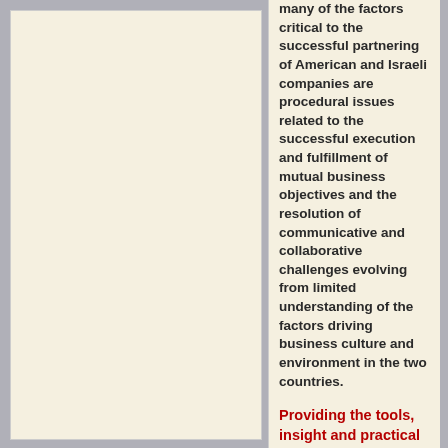many of the factors critical to the successful partnering of American and Israeli companies are procedural issues related to the successful execution and fulfillment of mutual business objectives and the resolution of communicative and collaborative challenges evolving from limited understanding of the factors driving business culture and environment in the two countries.
Providing the tools, insight and practical assistance required to achieve excellent business outcomes in both countries.
It is in that context that Transmark has specialized in a core set of